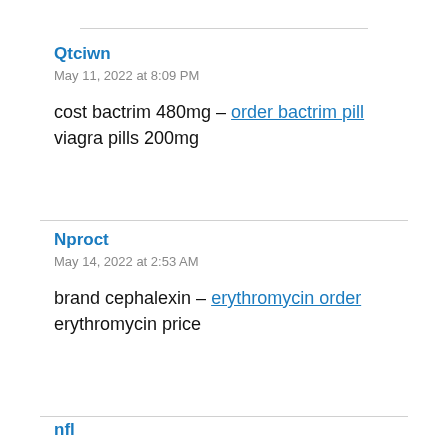Qtciwn
May 11, 2022 at 8:09 PM
cost bactrim 480mg – order bactrim pill viagra pills 200mg
Nproct
May 14, 2022 at 2:53 AM
brand cephalexin – erythromycin order erythromycin price
nfl